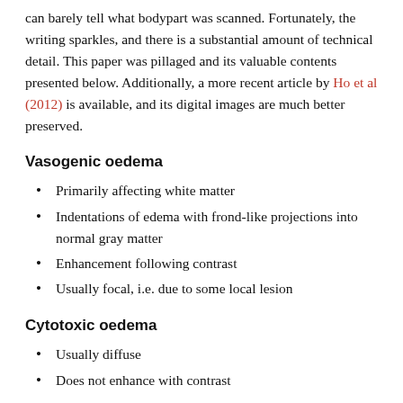can barely tell what bodypart was scanned. Fortunately, the writing sparkles, and there is a substantial amount of technical detail. This paper was pillaged and its valuable contents presented below. Additionally, a more recent article by Ho et al (2012) is available, and its digital images are much better preserved.
Vasogenic oedema
Primarily affecting white matter
Indentations of edema with frond-like projections into normal gray matter
Enhancement following contrast
Usually focal, i.e. due to some local lesion
Cytotoxic oedema
Usually diffuse
Does not enhance with contrast